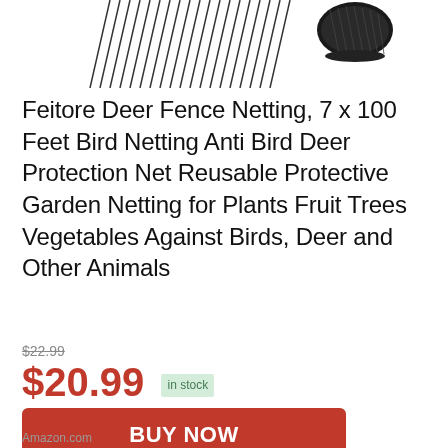[Figure (illustration): Product image showing deer fence netting stakes and bundled black zip ties/stakes on white background, partially cropped at top]
Feitore Deer Fence Netting, 7 x 100 Feet Bird Netting Anti Bird Deer Protection Net Reusable Protective Garden Netting for Plants Fruit Trees Vegetables Against Birds, Deer and Other Animals
$22.99
$20.99  in stock
BUY NOW
Amazon.com